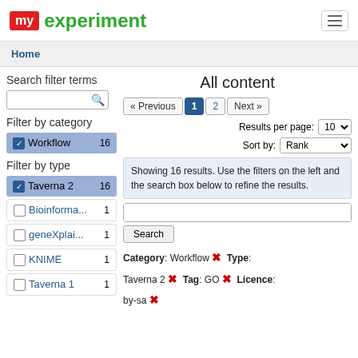[Figure (screenshot): myexperiment website logo: red box with 'my' text and green 'experiment' text]
Home
All content
Search filter terms
Filter by category
Workflow 16
Filter by type
Taverna 2 16
Bioinforma... 1
geneXplai... 1
KNIME 1
Taverna 1 1
« Previous 1 2 Next »
Results per page: 10
Sort by: Rank
Showing 16 results. Use the filters on the left and the search box below to refine the results.
Search
Category: Workflow ✗ Type: Taverna 2 ✗ Tag: GO ✗ Licence: by-sa ✗